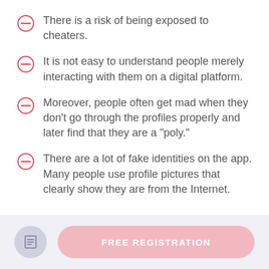There is a risk of being exposed to cheaters.
It is not easy to understand people merely interacting with them on a digital platform.
Moreover, people often get mad when they don't go through the profiles properly and later find that they are a "poly."
There are a lot of fake identities on the app. Many people use profile pictures that clearly show they are from the Internet.
FREE REGISTRATION